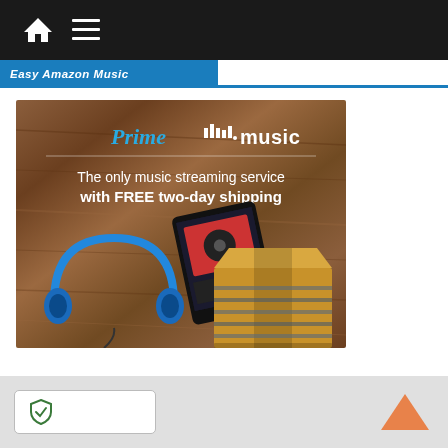Navigation bar with home and menu icons
Easy Amazon Music
[Figure (illustration): Amazon Prime Music advertisement showing 'The only music streaming service with FREE two-day shipping' with blue headphones, a tablet, and an Amazon box on a wooden background]
Footer bar with shield/privacy icon and scroll-to-top arrow button